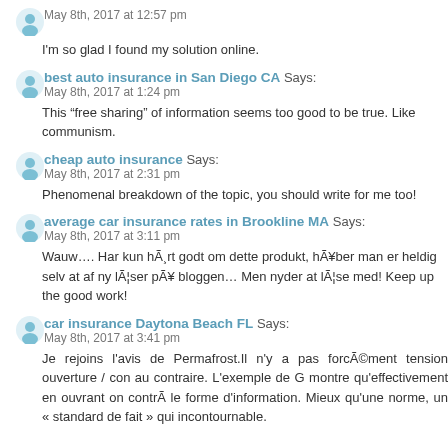May 8th, 2017 at 12:57 pm
I'm so glad I found my solution online.
best auto insurance in San Diego CA Says:
May 8th, 2017 at 1:24 pm
This “free sharing” of information seems too good to be true. Like communism.
cheap auto insurance Says:
May 8th, 2017 at 2:31 pm
Phenomenal breakdown of the topic, you should write for me too!
average car insurance rates in Brookline MA Says:
May 8th, 2017 at 3:11 pm
Wauw…. Har kun hÃ¸rt godt om dette produkt, hÃ¥ber man er heldig selv at af ny lÃ¦ser pÃ¥ bloggen… Men nyder at lÃ¦se med! Keep up the good work!
car insurance Daytona Beach FL Says:
May 8th, 2017 at 3:41 pm
Je rejoins l'avis de Permafrost.Il n'y a pas forcÃ©ment tension ouverture / con au contraire. L'exemple de G montre qu'effectivement en ouvrant on contrÃ le forme d'information. Mieux qu'une norme, un « standard de fait » qui incontournable.